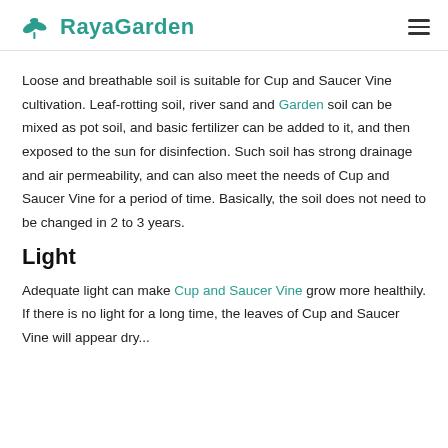RayaGarden
Loose and breathable soil is suitable for Cup and Saucer Vine cultivation. Leaf-rotting soil, river sand and Garden soil can be mixed as pot soil, and basic fertilizer can be added to it, and then exposed to the sun for disinfection. Such soil has strong drainage and air permeability, and can also meet the needs of Cup and Saucer Vine for a period of time. Basically, the soil does not need to be changed in 2 to 3 years.
Light
Adequate light can make Cup and Saucer Vine grow more healthily. If there is no light for a long time, the leaves of Cup and Saucer Vine will appear dry...